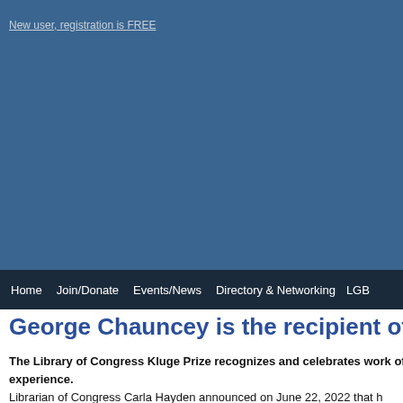[Figure (screenshot): Blue header background area of a website]
New user, registration is FREE
Home  Join/Donate  Events/News  Directory & Networking  LGB
George Chauncey is the recipient of the 202
The Library of Congress Kluge Prize recognizes and celebrates work of the hi experience.
Librarian of Congress Carla Hayden announced on June 22, 2022 that h